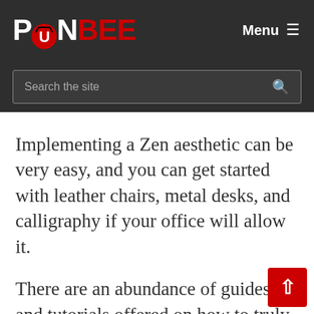PONBEE — Menu
Search the site
Implementing a Zen aesthetic can be very easy, and you can get started with leather chairs, metal desks, and calligraphy if your office will allow it.
There are an abundance of guides and tutorials offered on how to truly give your office a Zen aesthetic, and you can even go as far as to hire an interior designer to do that for you, which if you are not experienced with interior design would be